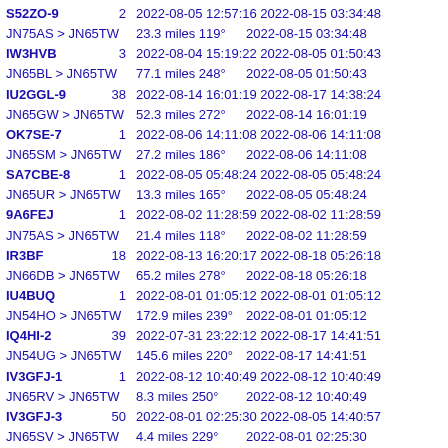S52ZO-9   2   2022-08-05 12:57:16 2022-08-15 03:34:48
JN75AS > JN65TW   23.3 miles 119°   2022-08-15 03:34:48
IW3HVB   3   2022-08-04 15:19:22 2022-08-05 01:50:43
JN65BL > JN65TW   77.1 miles 248°   2022-08-05 01:50:43
IU2GGL-9   38   2022-08-14 16:01:19 2022-08-17 14:38:24
JN65GW > JN65TW   52.3 miles 272°   2022-08-14 16:01:19
OK7SE-7   1   2022-08-06 14:11:08 2022-08-06 14:11:08
JN65SM > JN65TW   27.2 miles 186°   2022-08-06 14:11:08
SA7CBE-8   1   2022-08-05 05:48:24 2022-08-05 05:48:24
JN65UR > JN65TW   13.3 miles 165°   2022-08-05 05:48:24
9A6FEJ   1   2022-08-02 11:28:59 2022-08-02 11:28:59
JN75AS > JN65TW   21.4 miles 118°   2022-08-02 11:28:59
IR3BF   18   2022-08-13 16:20:17 2022-08-18 05:26:18
JN66DB > JN65TW   65.2 miles 278°   2022-08-18 05:26:18
IU4BUQ   1   2022-08-01 01:05:12 2022-08-01 01:05:12
JN54HO > JN65TW   172.9 miles 239°   2022-08-01 01:05:12
IQ4HI-2   39   2022-07-31 23:22:12 2022-08-17 14:41:51
JN54UG > JN65TW   145.6 miles 220°   2022-08-17 14:41:51
IV3GFJ-1   1   2022-08-12 10:40:49 2022-08-12 10:40:49
JN65RV > JN65TW   8.3 miles 250°   2022-08-12 10:40:49
IV3GFJ-3   50   2022-08-01 02:25:30 2022-08-05 14:40:57
JN65SV > JN65TW   4.4 miles 229°   2022-08-01 02:25:30
IR3UEZ-11   3   2022-08-16 17:07:17 2022-08-17 22:46:31
JN65UQ > JN65TW   16.8 miles 160°   2022-08-17 22:46:31